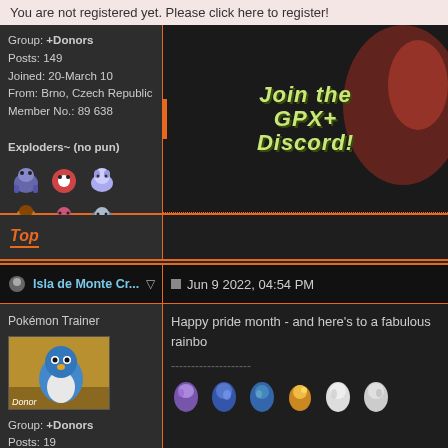You are not registered yet. Please click here to register!
Group: +Donors
Posts: 149
Joined: 20-March 10
From: Brno, Czech Republic
Member No.: 89 638
[Figure (screenshot): Join the GPX+ Discord! banner with anime character]
Exploders~ (no pun)
[Figure (illustration): Pokemon sprites: 6 pixel art pokemon sprites in two rows]
Top
Isla de Monte Cr...
Jun 9 2022, 04:54 PM
Pokémon Trainer
[Figure (illustration): Piplup avatar with Donor badge on brown background]
Group: +Donors
Posts: 19
Joined: 27-May 09
Happy pride month - and here's to a fabulous rainbo
[Figure (illustration): Six colored eggs/sprites in a row]